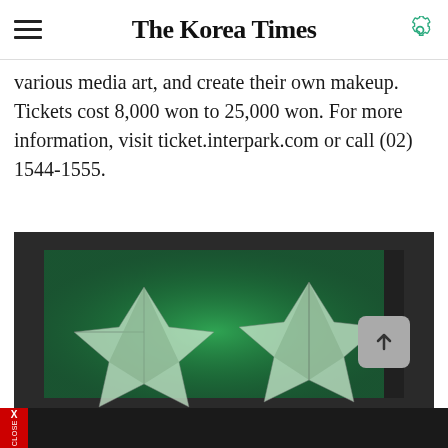The Korea Times
various media art, and create their own makeup. Tickets cost 8,000 won to 25,000 won. For more information, visit ticket.interpark.com or call (02) 1544-1555.
[Figure (photo): Artwork photograph showing two three-dimensional star shapes illuminated with green light against a dark background, displayed in a recessed frame or box.]